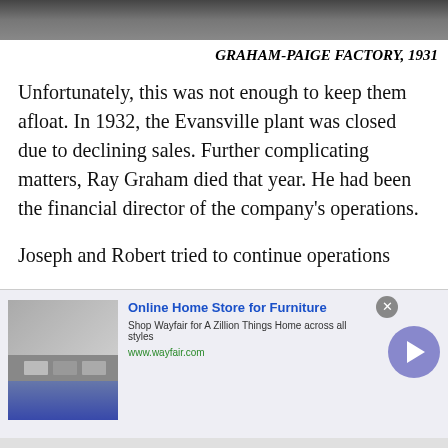[Figure (photo): Black and white photograph of Graham-Paige factory, 1931 (top strip visible)]
GRAHAM-PAIGE FACTORY, 1931
Unfortunately, this was not enough to keep them afloat. In 1932, the Evansville plant was closed due to declining sales. Further complicating matters, Ray Graham died that year. He had been the financial director of the company's operations.
Joseph and Robert tried to continue operations but never recovered from the losses of the